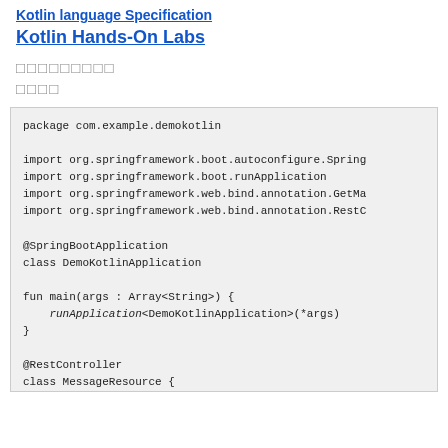Kotlin language Specification
Kotlin Hands-On Labs
□□□□□□□□□
□□□□
package com.example.demokotlin

import org.springframework.boot.autoconfigure.Spring
import org.springframework.boot.runApplication
import org.springframework.web.bind.annotation.GetMa
import org.springframework.web.bind.annotation.RestC

@SpringBootApplication
class DemoKotlinApplication

fun main(args : Array<String>) {
    runApplication<DemoKotlinApplication>(*args)
}

@RestController
class MessageResource {